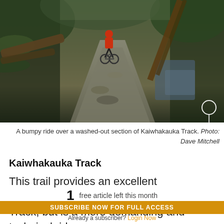[Figure (photo): A mountain biker riding down a washed-out, rocky trail through a dense green forest with fallen trees and a stream visible to the right.]
A bumpy ride over a washed-out section of Kaiwhakauka Track. Photo: Dave Mitchell
Kaiwhakauka Track
This trail provides an excellent alternative route onto the Mangapurua Track, but is a more demanding and technical ride.
1 free article left this month
SUBSCRIBE NOW FOR FULL ACCESS
Already a subscriber? Login Now